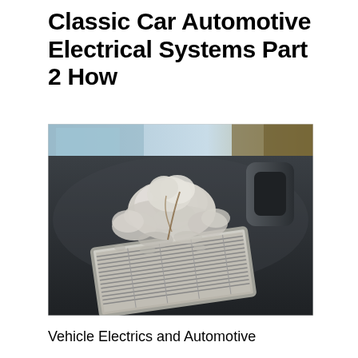Classic Car Automotive Electrical Systems Part 2 How
[Figure (photo): A dirty cabin air filter with clumps of dust, debris, and animal nesting material (lint/fluff) piled on top of it, placed on a dark plastic surface outdoors.]
Vehicle Electrics and Automotive